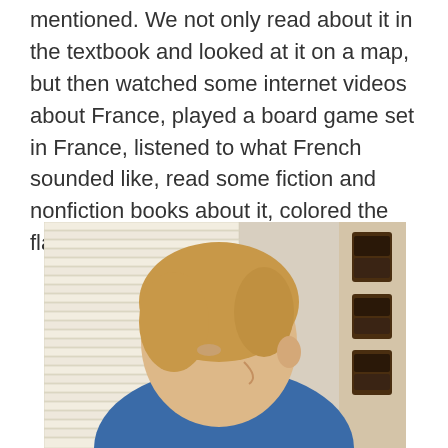mentioned. We not only read about it in the textbook and looked at it on a map, but then watched some internet videos about France, played a board game set in France, listened to what French sounded like, read some fiction and nonfiction books about it, colored the flag, and ate some French food!
[Figure (photo): A young boy with short blonde hair wearing a blue shirt, photographed from above/side angle while looking down, sitting near a window with white horizontal blinds. Dark wooden hanging items visible on the wall to the right.]